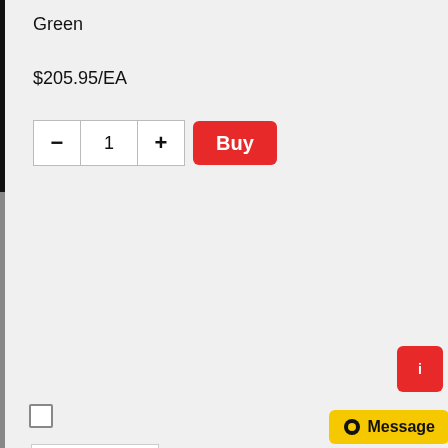Green
$205.95/EA
[Figure (screenshot): Quantity selector with minus button, quantity field showing 1, plus button, and a red Buy button]
[Figure (photo): Product image of a 4-inch Solid Intense Blue Opaque Stripe ribbon/tape on white background]
4" Solid Intense Blue Opaque Stripe
01643940